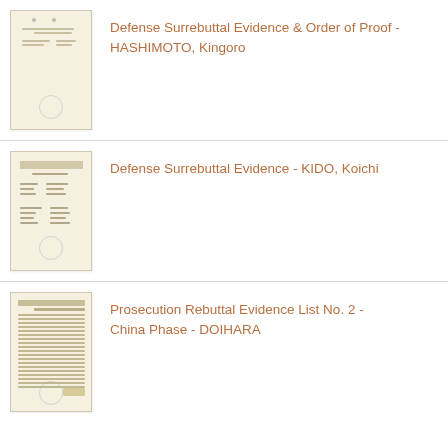[Figure (photo): Thumbnail of a document page - Defense Surrebuttal Evidence & Order of Proof - HASHIMOTO, Kingoro. Mostly blank/white with small text lines near top and a faint circular stamp at bottom.]
Defense Surrebuttal Evidence & Order of Proof - HASHIMOTO, Kingoro
[Figure (photo): Thumbnail of a document page - Defense Surrebuttal Evidence - KIDO, Koichi. Yellowed page with small table-like text entries and a faint circular stamp at bottom.]
Defense Surrebuttal Evidence - KIDO, Koichi
[Figure (photo): Thumbnail of a document page - Prosecution Rebuttal Evidence List No. 2 - China Phase - DOIHARA. Dense table with many rows and columns of text, faint circular stamp at bottom.]
Prosecution Rebuttal Evidence List No. 2 - China Phase - DOIHARA